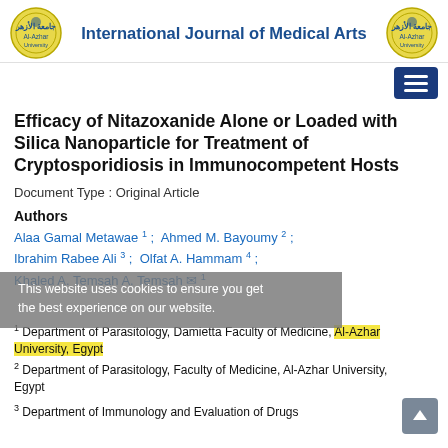International Journal of Medical Arts
Efficacy of Nitazoxanide Alone or Loaded with Silica Nanoparticle for Treatment of Cryptosporidiosis in Immunocompetent Hosts
Document Type : Original Article
Authors
Alaa Gamal Metawae 1 ;  Ahmed M. Bayoumy 2 ;
Ibrahim Rabee Ali 3 ;  Olfat A. Hammam 4 ;
Khaled A. Temsah A. Temsah ✉ 1
This website uses cookies to ensure you get the best experience on our website.
1 Department of Parasitology, Damietta Faculty of Medicine, Al-Azhar University, Egypt
2 Department of Parasitology, Faculty of Medicine, Al-Azhar University, Egypt
3 Department of Immunology and Evaluation of Drugs